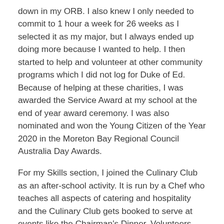down in my ORB. I also knew I only needed to commit to 1 hour a week for 26 weeks as I selected it as my major, but I always ended up doing more because I wanted to help. I then started to help and volunteer at other community programs which I did not log for Duke of Ed. Because of helping at these charities, I was awarded the Service Award at my school at the end of year award ceremony. I was also nominated and won the Young Citizen of the Year 2020 in the Moreton Bay Regional Council Australia Day Awards.
For my Skills section, I joined the Culinary Club as an after-school activity. It is run by a Chef who teaches all aspects of catering and hospitality and the Culinary Club gets booked to serve at events like the Chairman's Dinner, Volunteers morning tea day and monthly board meetings. I was part of a team that prepared and served a 5-course degustation dinner to 50 guests at a pop-up restaurant. It meant after school I then worked from 3.30pm to 10pm which was amazing but really tiring like